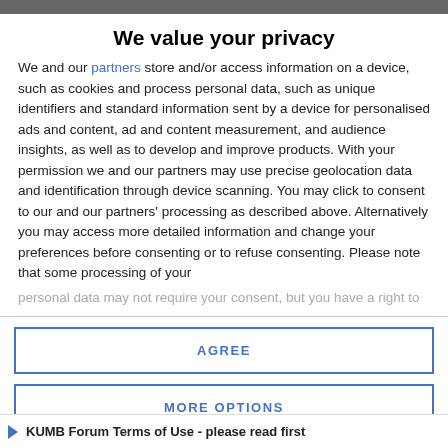We value your privacy
We and our partners store and/or access information on a device, such as cookies and process personal data, such as unique identifiers and standard information sent by a device for personalised ads and content, ad and content measurement, and audience insights, as well as to develop and improve products. With your permission we and our partners may use precise geolocation data and identification through device scanning. You may click to consent to our and our partners' processing as described above. Alternatively you may access more detailed information and change your preferences before consenting or to refuse consenting. Please note that some processing of your personal data may not require your consent, but you have a right to
AGREE
MORE OPTIONS
KUMB Forum Terms of Use - please read first